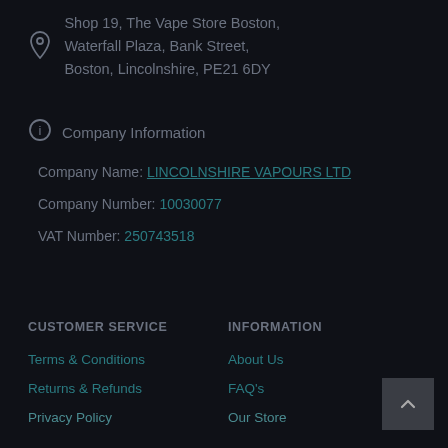Shop 19, The Vape Store Boston, Waterfall Plaza, Bank Street, Boston, Lincolnshire, PE21 6DY
Company Information
Company Name: LINCOLNSHIRE VAPOURS LTD
Company Number: 10030077
VAT Number: 250743518
CUSTOMER SERVICE
INFORMATION
Terms & Conditions
About Us
Returns & Refunds
FAQ's
Privacy Policy
Our Store